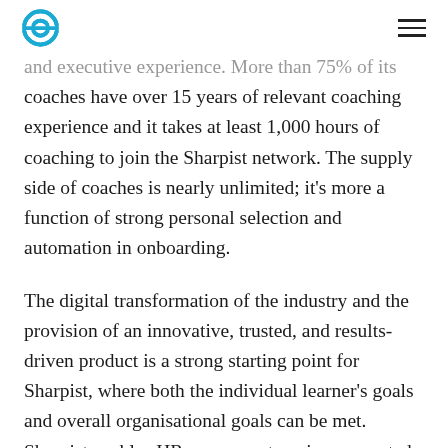[Sharpist logo] [menu icon]
and executive experience. More than 75% of its coaches have over 15 years of relevant coaching experience and it takes at least 1,000 hours of coaching to join the Sharpist network. The supply side of coaches is nearly unlimited; it's more a function of strong personal selection and automation in onboarding.
The digital transformation of the industry and the provision of an innovative, trusted, and results-driven product is a strong starting point for Sharpist, where both the individual learner's goals and overall organisational goals can be met. Sharpist enables HR managers to gain aggregated